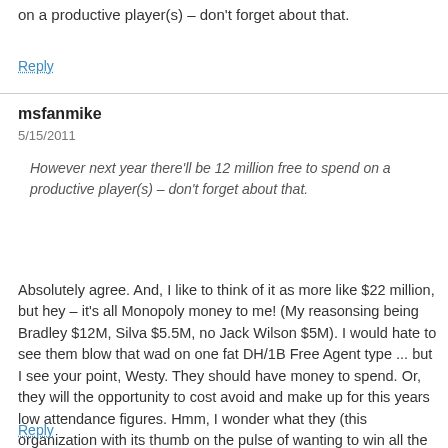on a productive player(s) – don't forget about that.
Reply
msfanmike
5/15/2011
However next year there'll be 12 million free to spend on a productive player(s) – don't forget about that.
Absolutely agree. And, I like to think of it as more like $22 million, but hey – it's all Monopoly money to me! (My reasonsing being Bradley $12M, Silva $5.5M, no Jack Wilson $5M). I would hate to see them blow that wad on one fat DH/1B Free Agent type ... but I see your point, Westy. They should have money to spend. Or, they will the opportunity to cost avoid and make up for this years low attendance figures. Hmm, I wonder what they (this organization with its thumb on the pulse of wanting to win all the time) might decide to do?
Reply